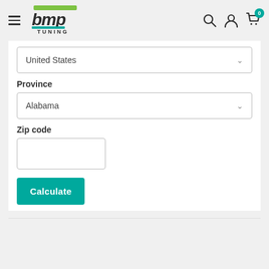[Figure (logo): BMP Tuning logo with green stripe and teal accent]
United States
Province
Alabama
Zip code
Calculate